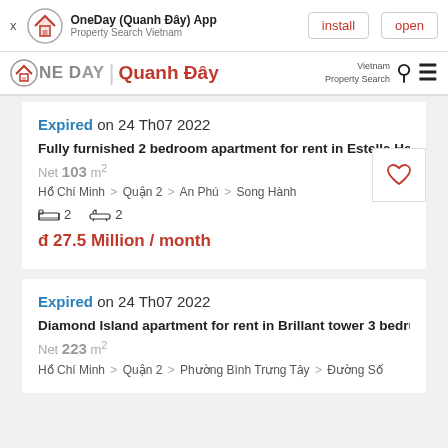OneDay (Quanh Đây) App — Property Search Vietnam | install | open
OneDay | Quanh Đây — Vietnam Property Search
Expired on 24 Th07 2022
Fully furnished 2 bedroom apartment for rent in Estella Hei
Net 103 m²
Hồ Chí Minh > Quận 2 > An Phú > Song Hành
2 bedrooms  2 bathrooms
đ 27.5 Million / month
Expired on 24 Th07 2022
Diamond Island apartment for rent in Brillant tower 3 bedro
Net 223 m²
Hồ Chí Minh > Quận 2 > Phường Bình Trưng Tây > Đường Số